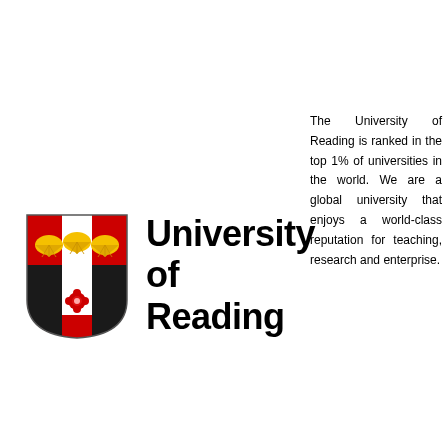[Figure (logo): University of Reading logo: shield with red top (three yellow shells), black and white cross pattern below with a red rose, accompanied by bold text 'University of Reading']
The University of Reading is ranked in the top 1% of universities in the world. We are a global university that enjoys a world-class reputation for teaching, research and enterprise.